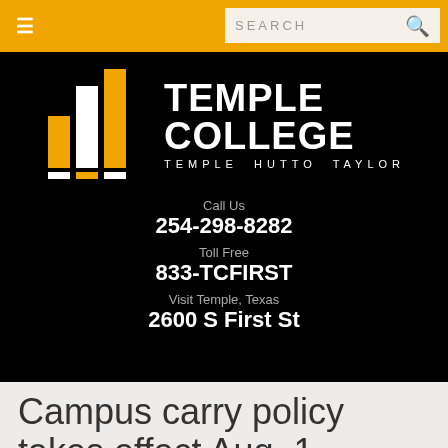☰   SEARCH 🔍
[Figure (logo): Temple College logo with bar chart icon in white and gold, text reads TEMPLE COLLEGE, TEMPLE HUTTO TAYLOR]
Call Us
254-298-8282
Toll Free
833-TCFIRST
Visit Temple, Texas
2600 S First St
Campus carry policy takes effect Aug. 1